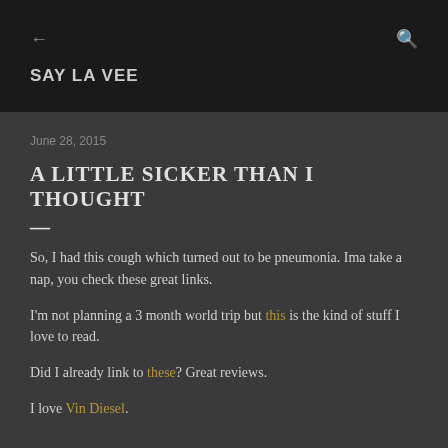SAY LA VEE
June 28, 2015
A LITTLE SICKER THAN I THOUGHT
So, I had this cough which turned out to be pneumonia. Ima take a nap, you check these great links.
I'm not planning a 3 month world trip but this is the kind of stuff I love to read.
Did I already link to these? Great reviews.
I love Vin Diesel.